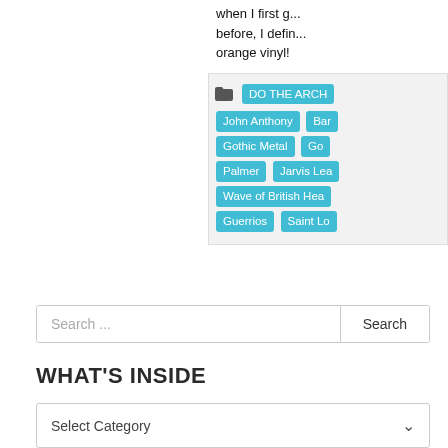when I first g... before, I defin... orange vinyl!
DO THE ARCH... John Anthony | Bar... Gothic Metal | Go... Palmer | Jarvis Lea... Wave of British Hea... Guerrios | Saint Lo...
Search ...
WHAT'S INSIDE
Select Category